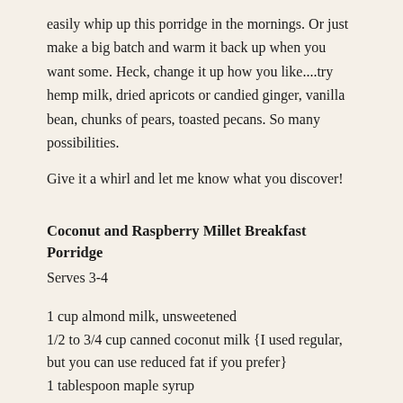easily whip up this porridge in the mornings. Or just make a big batch and warm it back up when you want some. Heck, change it up how you like....try hemp milk, dried apricots or candied ginger, vanilla bean, chunks of pears, toasted pecans. So many possibilities.
Give it a whirl and let me know what you discover!
Coconut and Raspberry Millet Breakfast Porridge
Serves 3-4
1 cup almond milk, unsweetened
1/2 to 3/4 cup canned coconut milk {I used regular, but you can use reduced fat if you prefer}
1 tablespoon maple syrup
1/8 teaspoon Himalayan pink salt, fine
Scant 1/2 teaspoon ground cinnamon
1/4 to 1/2 teaspoon ground cardamom
2 cups cooked millet {see instructions below}
4 tablespoon unsweetened coconut flakes, toasted, divided